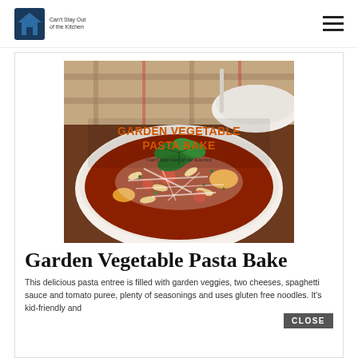Can't Stay Out of the Kitchen
[Figure (photo): A bowl of Garden Vegetable Pasta Bake with melted cheese, pasta, vegetables, tomato sauce, and fresh basil garnish. Text overlay reads 'GARDEN VEGETABLE PASTA BAKE - Can't Stay Out of the Kitchen']
Garden Vegetable Pasta Bake
This delicious pasta entree is filled with garden veggies, two cheeses, spaghetti sauce and tomato puree, plenty of seasonings and uses gluten free noodles. It's kid-friendly and